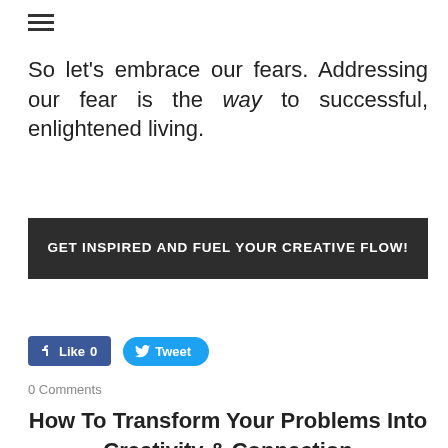[Figure (other): Hamburger menu icon (three horizontal lines)]
So let's embrace our fears. Addressing our fear is the way to successful, enlightened living.
[Figure (infographic): Dark banner with white bold text: GET INSPIRED AND FUEL YOUR CREATIVE FLOW!]
[Figure (other): Facebook Like button showing count 0 and Twitter Tweet button]
0 Comments
How To Transform Your Problems Into Creativity & Connection
10/26/2019  1 Comment